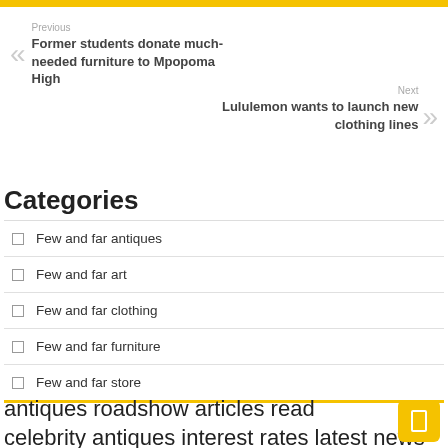Previous
Former students donate much-needed furniture to Mpopoma High
Next
Lululemon wants to launch new clothing lines
Categories
Few and far antiques
Few and far art
Few and far clothing
Few and far furniture
Few and far store
antiques roadshow articles read celebrity antiques interest rates latest news